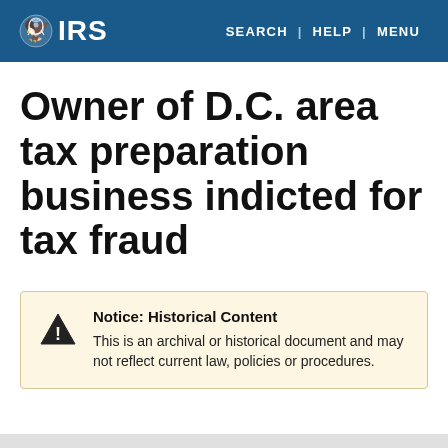IRS | SEARCH | HELP | MENU
Owner of D.C. area tax preparation business indicted for tax fraud
Notice: Historical Content
This is an archival or historical document and may not reflect current law, policies or procedures.